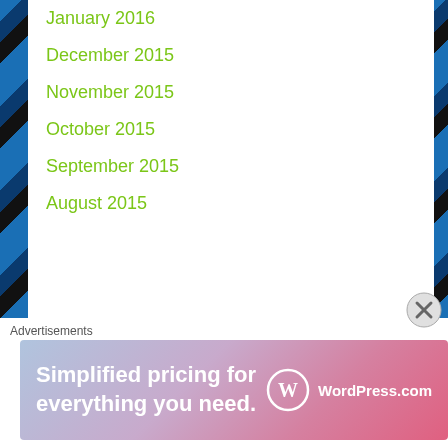January 2016
December 2015
November 2015
October 2015
September 2015
August 2015
Recent Posts
Feeding My Addiction…
Cover by C.M. Marie blitz with giveaway
Advertisements
[Figure (infographic): WordPress.com advertisement banner: 'Simplified pricing for everything you need.' with WordPress.com logo on pink/purple gradient background]